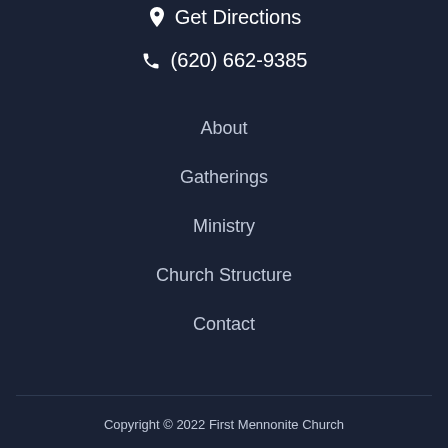📍 Get Directions
📞 (620) 662-9385
About
Gatherings
Ministry
Church Structure
Contact
Copyright © 2022 First Mennonite Church